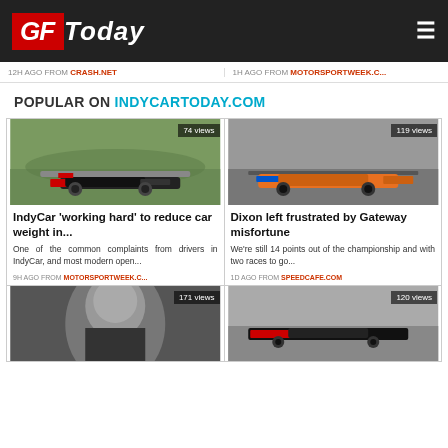GFToday
12h AGO FROM CRASH.NET   |   1h AGO FROM MOTORSPORTWEEK.C...
POPULAR ON INDYCARTODAY.COM
[Figure (photo): IndyCar red race car on track, 74 views]
IndyCar 'working hard' to reduce car weight in...
One of the common complaints from drivers in IndyCar, and most modern open...
9H AGO FROM MOTORSPORTWEEK.C...
[Figure (photo): IndyCar orange race car on track, 119 views]
Dixon left frustrated by Gateway misfortune
We're still 14 points out of the championship and with two races to go...
1D AGO FROM SPEEDCAFE.COM
[Figure (photo): Person portrait, 171 views]
[Figure (photo): IndyCar red/black race car on track, 120 views]